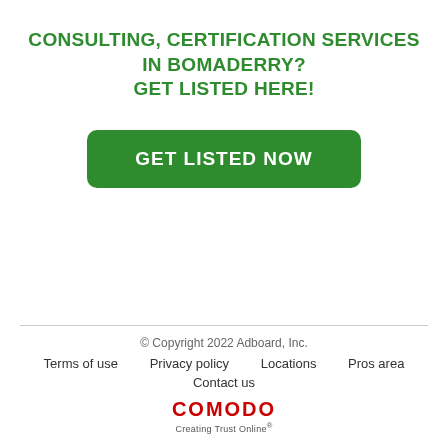CONSULTING, CERTIFICATION SERVICES IN BOMADERRY? GET LISTED HERE!
[Figure (other): Green rounded rectangle button with white bold text reading GET LISTED NOW]
© Copyright 2022 Adboard, Inc. | Terms of use | Privacy policy | Locations | Pros area | Contact us | COMODO Creating Trust Online